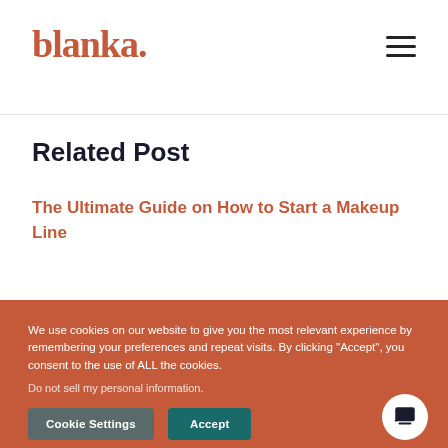blanka.
Related Post
The Ultimate Guide on How to Start a Makeup Line
We use cookies on our website to give you the most relevant experience by remembering your preferences and repeat visits. By clicking "Accept", you consent to the use of ALL the cookies.
Do not sell my personal information.
Cookie Settings
Accept